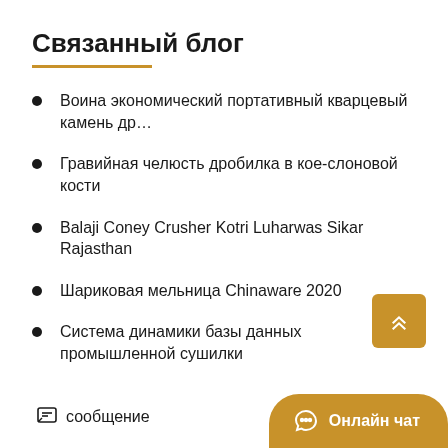Связанный блог
Воина экономический портативный кварцевый камень др…
Гравийная челюсть дробилка в кое-слоновой кости
Balaji Coney Crusher Kotri Luharwas Sikar Rajasthan
Шариковая мельница Chinaware 2020
Система динамики базы данных промышленной сушилки
Фрезерное производственное обслуживание линии
Трех щековой дробилки 150 тонн в час ценообразование